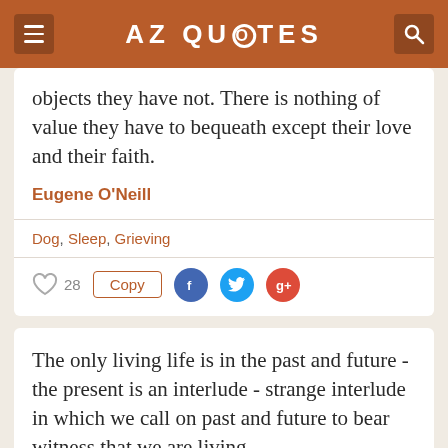AZ QUOTES
objects they have not. There is nothing of value they have to bequeath except their love and their faith.
Eugene O'Neill
Dog, Sleep, Grieving
28  Copy
The only living life is in the past and future - the present is an interlude - strange interlude in which we call on past and future to bear witness that we are living.